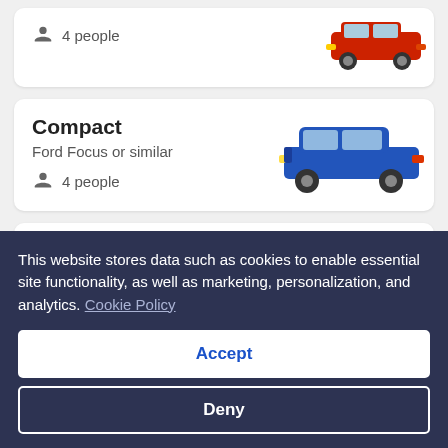[Figure (screenshot): Partial car rental listing card showing '4 people' capacity and red SUV car image (cropped from top)]
Compact
Ford Focus or similar
4 people
[Figure (photo): Blue Ford Focus sedan car image]
Midsize
Toyota Corolla or similar
[Figure (photo): Gold/beige Toyota Corolla sedan car image (partially visible)]
This website stores data such as cookies to enable essential site functionality, as well as marketing, personalization, and analytics. Cookie Policy
Accept
Deny